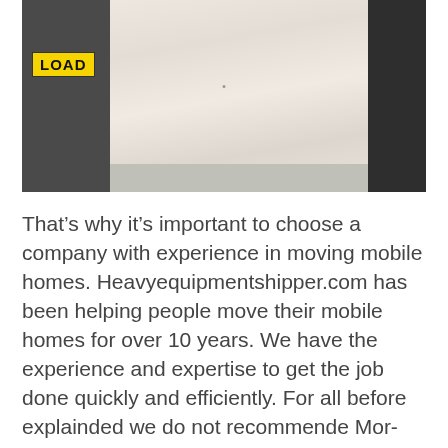[Figure (photo): A person wearing a light beige/cream button-up top seated outdoors near a truck with a yellow license plate reading 'LOAD'. The background shows a dark truck on the left and another vehicle on the right.]
That's why it's important to choose a company with experience in moving mobile homes. Heavyequipmentshipper.com has been helping people move their mobile homes for over 10 years. We have the experience and expertise to get the job done quickly and efficiently. For all before explainded we do not recommende Mor-hanger and the same with other store have